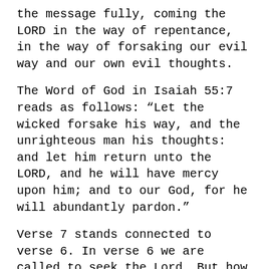the message fully, coming the LORD in the way of repentance, in the way of forsaking our evil way and our own evil thoughts.
The Word of God in Isaiah 55:7 reads as follows: “Let the wicked forsake his way, and the unrighteous man his thoughts: and let him return unto the LORD, and he will have mercy upon him; and to our God, for he will abundantly pardon.”
Verse 7 stands connected to verse 6. In verse 6 we are called to seek the Lord. But how are we to do that? Verse 7 supplies the answer. You see, God not only tells us what we must do, but He also tells us how we are to seek Him and how we are to call upon Him. In what way are we to have personal dealings with God? Are we simply, perhaps, to fold our arms across our chests and sit in a yoga position and wait for an emotional